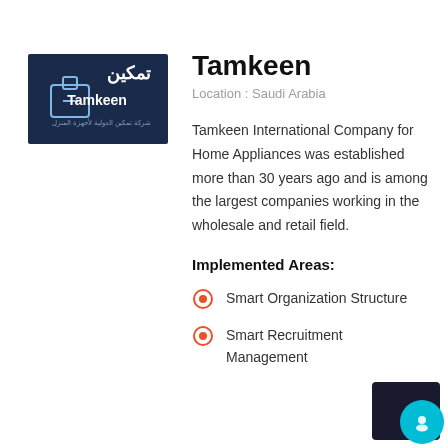[Figure (logo): Tamkeen logo: dark navy background with Arabic text تمكين and English text Tamkeen with a stylized icon]
Tamkeen
Location : Saudi Arabia
Tamkeen International Company for Home Appliances was established more than 30 years ago and is among the largest companies working in the wholesale and retail field.
Implemented Areas:
Smart Organization Structure
Smart Recruitment Management